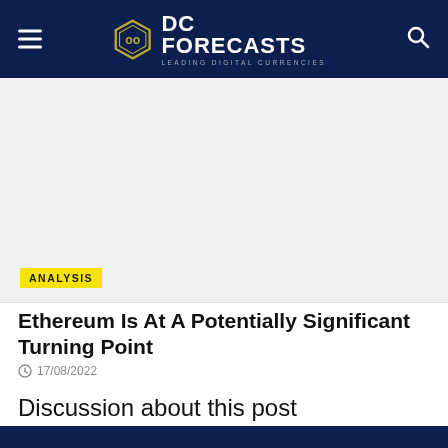DC FORECASTS — LEADING DIGITAL CURRENCIES
[Figure (photo): Article hero image placeholder — light grey rectangle with ANALYSIS badge in yellow at bottom left]
Ethereum Is At A Potentially Significant Turning Point
17/08/2022
Discussion about this post